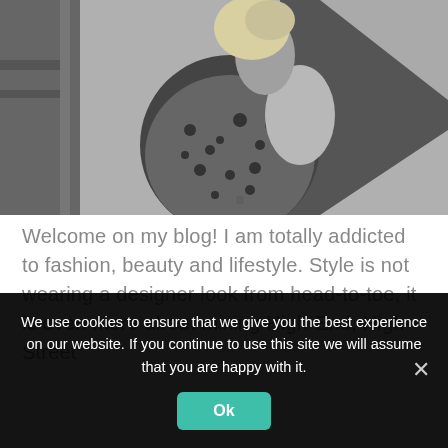[Figure (photo): Black and white photo of a woman from behind wearing a strapless leopard-print dress, with a building/structure in the background]
Welcome on my blog! I am totally addicted to fashion, beauty and lifestyle. Style is not wearing a designer look from head-to-toe, it is even more about mixing High-End, High-Street
We use cookies to ensure that we give you the best experience on our website. If you continue to use this site we will assume that you are happy with it.